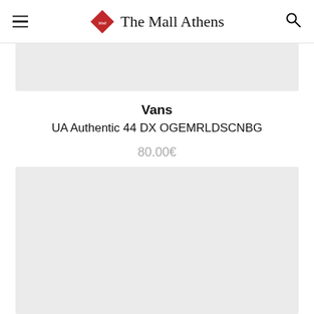The Mall Athens
[Figure (photo): Top grey placeholder image area]
Vans
UA Authentic 44 DX OGEMRLDSCNBG
80.00€
[Figure (photo): Bottom large grey placeholder image area]